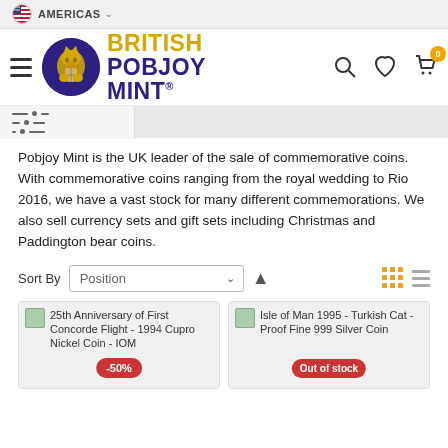AMERICAS
[Figure (logo): British Pobjoy Mint logo with lion emblem circle and text]
Pobjoy Mint is the UK leader of the sale of commemorative coins. With commemorative coins ranging from the royal wedding to Rio 2016, we have a vast stock for many different commemorations. We also sell currency sets and gift sets including Christmas and Paddington bear coins.
Sort By  Position
[Figure (screenshot): 25th Anniversary of First Concorde Flight - 1994 Cupro Nickel Coin - IOM with -50% badge]
[Figure (screenshot): Isle of Man 1995 - Turkish Cat - Proof Fine 999 Silver Coin with Out of stock badge]